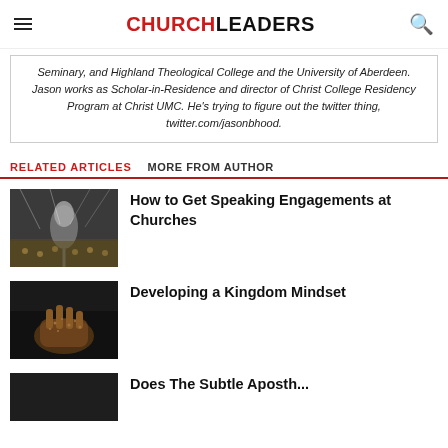CHURCHLEADERS
Seminary, and Highland Theological College and the University of Aberdeen. Jason works as Scholar-in-Residence and director of Christ College Residency Program at Christ UMC. He's trying to figure out the twitter thing, twitter.com/jasonbhood.
RELATED ARTICLES   MORE FROM AUTHOR
[Figure (photo): Microphone in front of a large crowd at a speaking event with stage lighting]
How to Get Speaking Engagements at Churches
[Figure (photo): Hand holding soil/seeds against dark background]
Developing a Kingdom Mindset
[Figure (photo): Dark image partially visible at bottom of page]